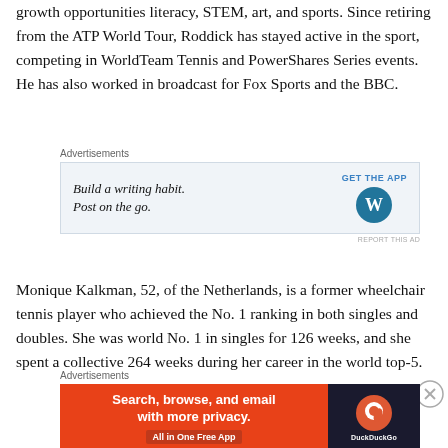growth opportunities literacy, STEM, art, and sports. Since retiring from the ATP World Tour, Roddick has stayed active in the sport, competing in WorldTeam Tennis and PowerShares Series events. He has also worked in broadcast for Fox Sports and the BBC.
[Figure (other): Advertisement banner for WordPress app: 'Build a writing habit. Post on the go.' with GET THE APP button and WordPress logo]
Monique Kalkman, 52, of the Netherlands, is a former wheelchair tennis player who achieved the No. 1 ranking in both singles and doubles. She was world No. 1 in singles for 126 weeks, and she spent a collective 264 weeks during her career in the world top-5.
[Figure (other): Advertisement banner for DuckDuckGo: 'Search, browse, and email with more privacy. All in One Free App' with DuckDuckGo logo on dark background]